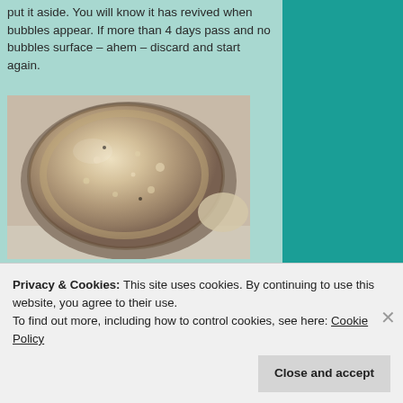put it aside. You will know it has revived when bubbles appear. If more than 4 days pass and no bubbles surface – ahem – discard and start again.
[Figure (photo): Top-down view of a bubbly sourdough starter in a glass bowl, showing fermentation activity with bubble texture on the surface]
Like this.
Privacy & Cookies: This site uses cookies. By continuing to use this website, you agree to their use.
To find out more, including how to control cookies, see here: Cookie Policy
Close and accept